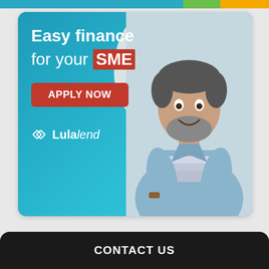[Figure (infographic): Lulalend SME finance advertisement banner. Teal background with a bearded man holding blueprints/rolled documents. Text reads 'Easy finance for your SME' with an orange 'APPLY NOW' button and Lulalend logo.]
CONTACT US